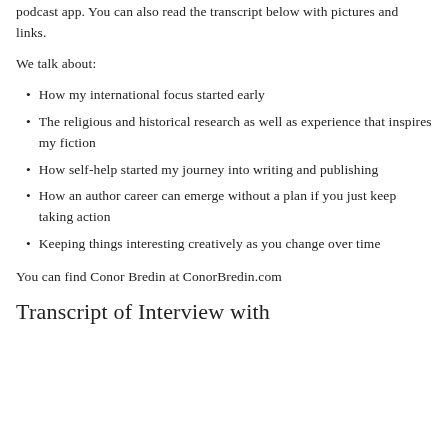podcast app. You can also read the transcript below with pictures and links.
We talk about:
How my international focus started early
The religious and historical research as well as experience that inspires my fiction
How self-help started my journey into writing and publishing
How an author career can emerge without a plan if you just keep taking action
Keeping things interesting creatively as you change over time
You can find Conor Bredin at ConorBredin.com
Transcript of Interview with